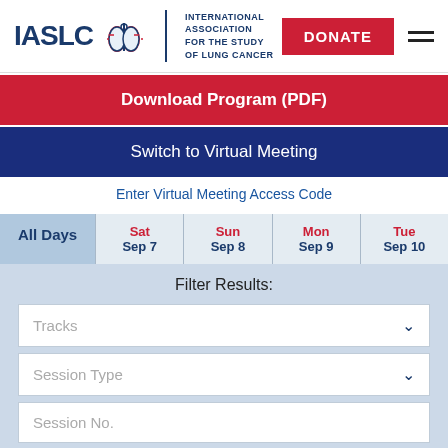[Figure (logo): IASLC logo with lung icon and full name: International Association for the Study of Lung Cancer]
DONATE
Download Program (PDF)
Switch to Virtual Meeting
Enter Virtual Meeting Access Code
All Days
Sat
Sep 7
Sun
Sep 8
Mon
Sep 9
Tue
Sep 10
Filter Results:
Tracks
Session Type
Session No.
Pres No.